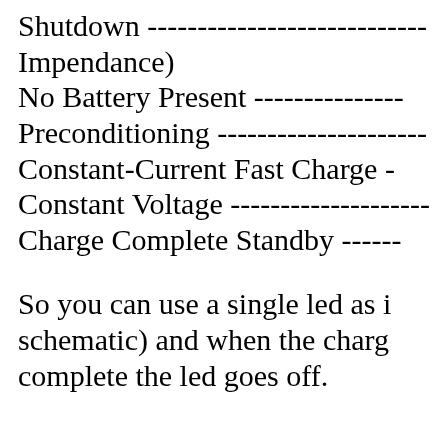Shutdown ----------------------------
Impendance)
No Battery Present ---------------
Preconditioning ---------------------
Constant-Current Fast Charge -
Constant Voltage --------------------
Charge Complete Standby ------
So you can use a single led as i schematic) and when the charg complete the led goes off.